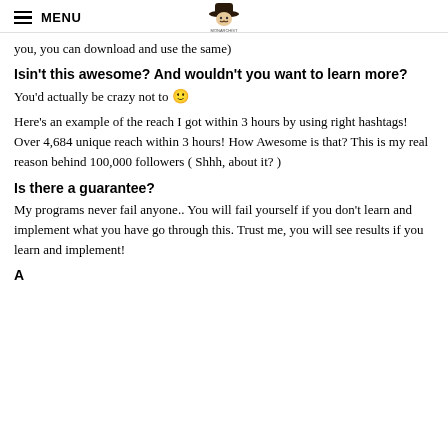MENU [logo]
you, you can download and use the same)
Isin't this awesome? And wouldn't you want to learn more?
You'd actually be crazy not to 🙂
Here's an example of the reach I got within 3 hours by using right hashtags! Over 4,684 unique reach within 3 hours! How Awesome is that? This is my real reason behind 100,000 followers ( Shhh, about it? )
Is there a guarantee?
My programs never fail anyone.. You will fail yourself if you don't learn and implement what you have go through this. Trust me, you will see results if you learn and implement!
A…